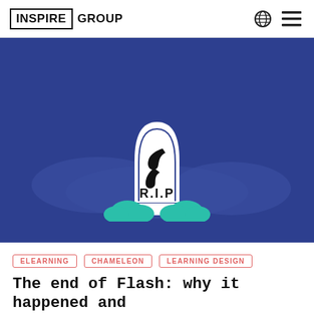INSPIRE GROUP
[Figure (illustration): Blue background illustration of a tombstone/gravestone with the Adobe Flash logo (stylized 'f') on it, text 'R.I.P' below the logo, with teal/green bushes at the base and blue cloud-like shapes in the background.]
ELEARNING
CHAMELEON
LEARNING DESIGN
The end of Flash: why it happened and